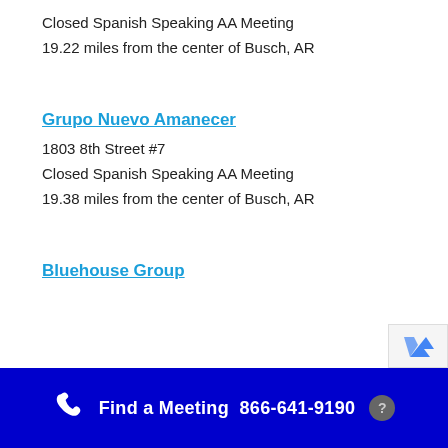Closed Spanish Speaking AA Meeting
19.22 miles from the center of Busch, AR
Grupo Nuevo Amanecer
1803 8th Street #7
Closed Spanish Speaking AA Meeting
19.38 miles from the center of Busch, AR
Bluehouse Group
Find a Meeting  866-641-9190